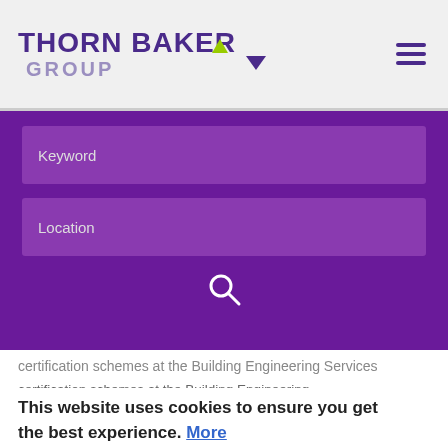[Figure (logo): Thorn Baker Group logo with green upward arrow, purple text, and hamburger menu icon]
[Figure (screenshot): Purple search panel with Keyword and Location input fields and search magnifying glass icon]
certification schemes at the Building Engineering Services Association (BESA), which manages SKI...
This website uses cookies to ensure you get the best experience. More
"As soon as we were alerted, we closed this loophole in line with our responsibility to uphold professional standards and provide quality assurance to construction clients."
Got it!